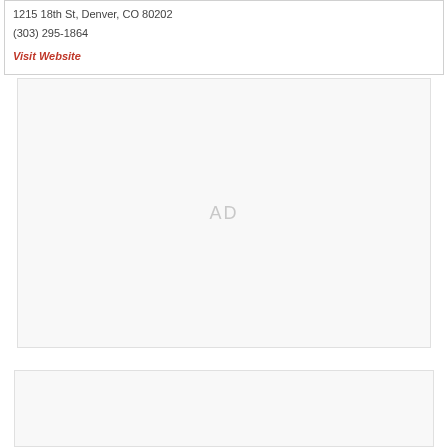1215 18th St, Denver, CO 80202
(303) 295-1864
Visit Website
[Figure (other): Advertisement placeholder box with 'AD' label in center]
[Figure (other): Empty placeholder box at bottom of page]